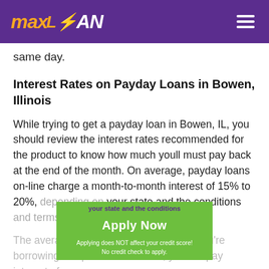maxLOAN
same day.
Interest Rates on Payday Loans in Bowen, Illinois
While trying to get a payday loan in Bowen, IL, you should review the interest rates recommended for the product to know how much youll must pay back at the end of the month. On average, payday loans on-line charge a month-to-month interest of 15% to 20%, depending on your state and the conditions and terms discussed.
The average payday loan is $375, so if you're borrowing this particular amount, you will pay interest of among
[Figure (other): Green CTA button overlay: Apply Now button with text 'Applying does NOT affect your credit score! No credit check to apply.']